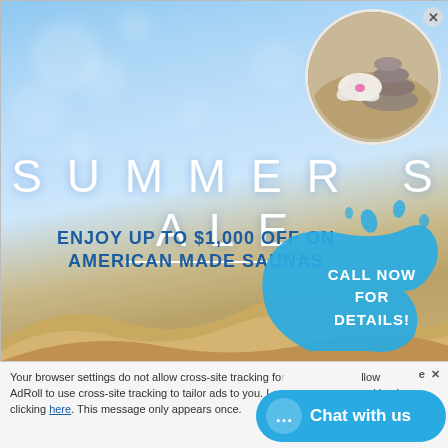[Figure (illustration): Summer sale advertisement banner with blue sky bokeh background, circular photo of zen stones and white orchid flower in top right, sand dunes at bottom, large 'SUMMER SALE' text, subtitle 'ENJOY UP TO $1,000 OFF ON AMERICAN MADE SAUNAS', and blue water splash shape with 'CALL NOW FOR DETAILS!' text. A close (X) button in top right corner.]
Your browser settings do not allow cross-site tracking for advertising. Click here to allow AdRoll to use cross-site tracking to tailor ads to you. Learn more. Dismiss cross-site tracking by clicking here. This message only appears once.
[Figure (illustration): Blue 'Chat with us' button with chat bubble icon]